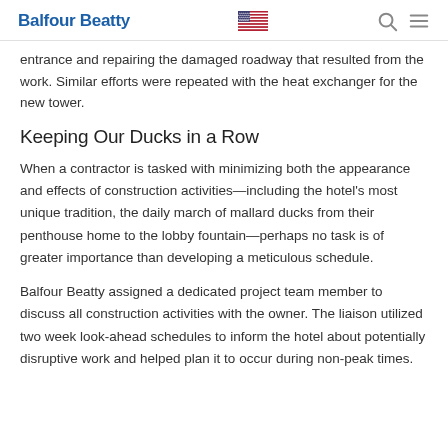Balfour Beatty
entrance and repairing the damaged roadway that resulted from the work. Similar efforts were repeated with the heat exchanger for the new tower.
Keeping Our Ducks in a Row
When a contractor is tasked with minimizing both the appearance and effects of construction activities—including the hotel's most unique tradition, the daily march of mallard ducks from their penthouse home to the lobby fountain—perhaps no task is of greater importance than developing a meticulous schedule.
Balfour Beatty assigned a dedicated project team member to discuss all construction activities with the owner. The liaison utilized two week look-ahead schedules to inform the hotel about potentially disruptive work and helped plan it to occur during non-peak times.